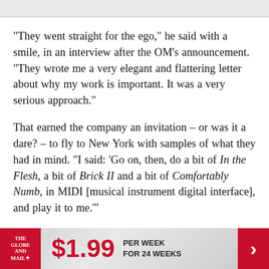"They went straight for the ego," he said with a smile, in an interview after the OM's announcement. "They wrote me a very elegant and flattering letter about why my work is important. It was a very serious approach."
That earned the company an invitation – or was it a dare? – to fly to New York with samples of what they had in mind. "I said: 'Go on, then, do a bit of In the Flesh, a bit of Brick II and a bit of Comfortably Numb, in MIDI [musical instrument digital interface], and play it to me.'"
[Figure (other): The Globe and Mail subscription advertisement banner: logo on red background, $1.99 per week for 24 weeks, red arrow chevron on right]